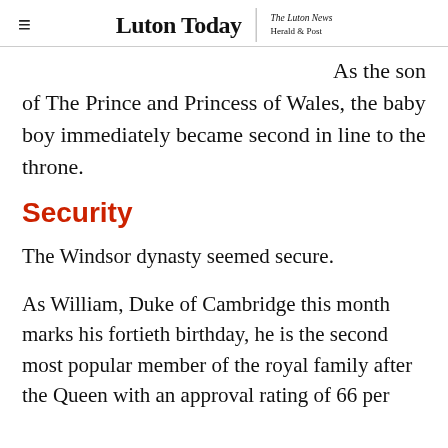Luton Today | The Luton News Herald & Post
As the son of The Prince and Princess of Wales, the baby boy immediately became second in line to the throne.
Security
The Windsor dynasty seemed secure.
As William, Duke of Cambridge this month marks his fortieth birthday, he is the second most popular member of the royal family after the Queen with an approval rating of 66 per